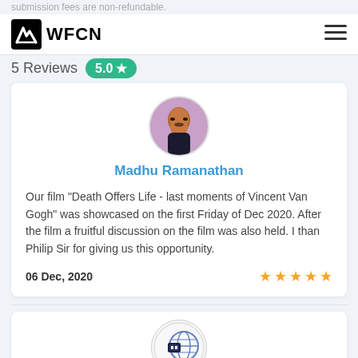Submission fees are non-refundable.
WFCN
5 Reviews  5.0 ★
[Figure (photo): Circular avatar photo of Madhu Ramanathan, a man with a mustache]
Madhu Ramanathan
Our film "Death Offers Life - last moments of Vincent Van Gogh" was showcased on the first Friday of Dec 2020. After the film a fruitful discussion on the film was also held. I than Philip Sir for giving us this opportunity.
06 Dec, 2020
[Figure (logo): FirstFridayFilms logo — a film camera with globe motif]